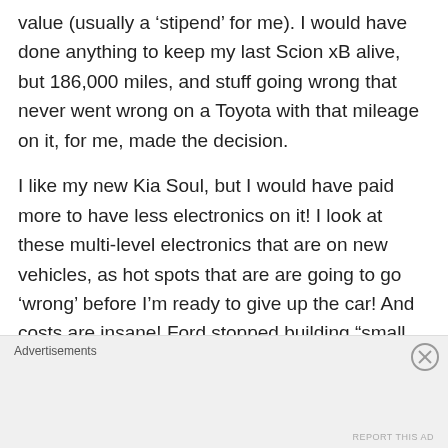value (usually a ‘stipend’ for me). I would have done anything to keep my last Scion xB alive, but 186,000 miles, and stuff going wrong that never went wrong on a Toyota with that mileage on it, for me, made the decision.
I like my new Kia Soul, but I would have paid more to have less electronics on it! I look at these multi-level electronics that are on new vehicles, as hot spots that are are going to go ‘wrong’ before I’m ready to give up the car! And costs are insane! Ford stopped building “small cars” in America because all anyone wanted was $50K trucks (not me, and not true); yet they still
Advertisements